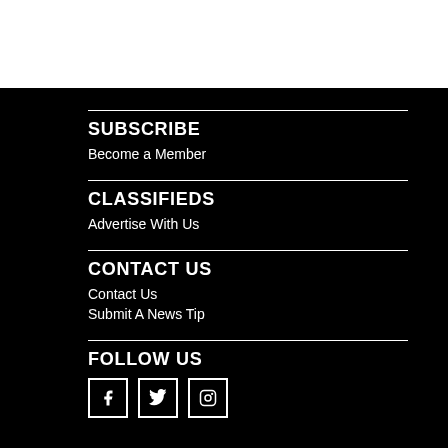SUBSCRIBE
Become a Member
CLASSIFIEDS
Advertise With Us
CONTACT US
Contact Us
Submit A News Tip
FOLLOW US
[Figure (illustration): Social media icons: Facebook, Twitter, Instagram]